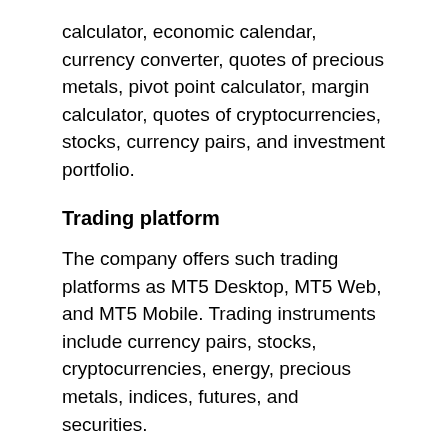calculator, economic calendar, currency converter, quotes of precious metals, pivot point calculator, margin calculator, quotes of cryptocurrencies, stocks, currency pairs, and investment portfolio.
Trading platform
The company offers such trading platforms as MT5 Desktop, MT5 Web, and MT5 Mobile. Trading instruments include currency pairs, stocks, cryptocurrencies, energy, precious metals, indices, futures, and securities.
Support service
Clients can contact the company by phone, email, or through a feedback form.
Traders' reviews
Notably, there is plenty of negative feedback about the